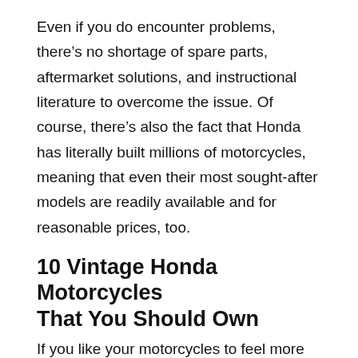Even if you do encounter problems, there's no shortage of spare parts, aftermarket solutions, and instructional literature to overcome the issue. Of course, there's also the fact that Honda has literally built millions of motorcycles, meaning that even their most sought-after models are readily available and for reasonable prices, too.
10 Vintage Honda Motorcycles That You Should Own
If you like your motorcycles to feel more analog than digital, armed with plenty of soulful character, dressed in the charismatic finery of yesteryear, but with